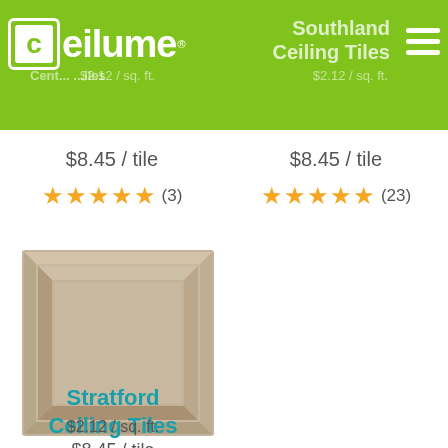[Figure (logo): Ceilume logo on green header bar with navigation text]
$8.45 / tile
★★★★★ (3)
$8.45 / tile
★★★★★ (23)
[Figure (photo): Stratford ceiling tile product photo - beige/tan raised panel square tile]
Stratford Ceiling Tiles
$2.12 / sq. ft.
$8.45 / tile